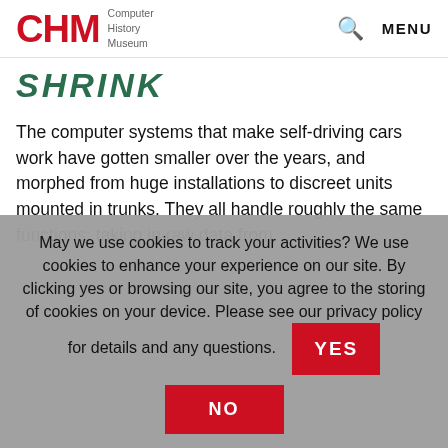CHM Computer History Museum | MENU
SHRINK
The computer systems that make self-driving cars work have gotten smaller over the years, and morphed from huge installations to discreet units mounted in trunks. They all handle roughly the same functions: taking in raw data from
May we use cookies to track your activities? We use cookies to enhance your experience on our site. By clicking yes or browsing our site, you agree to the storing of cookies on your device. Please see our privacy policy for details and any questions.
YES
NO